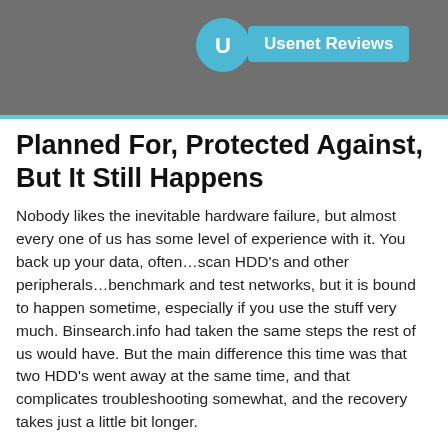disk drives go down on them. But don't worry, they also had their proverbial backsides covered with backups of the data, and apparently didn't encounter too much issue in getting the necessary hardware either.
Planned For, Protected Against, But It Still Happens
Nobody likes the inevitable hardware failure, but almost every one of us has some level of experience with it. You back up your data, often…scan HDD's and other peripherals…benchmark and test networks, but it is bound to happen sometime, especially if you use the stuff very much. Binsearch.info had taken the same steps the rest of us would have. But the main difference this time was that two HDD's went away at the same time, and that complicates troubleshooting somewhat, and the recovery takes just a little bit longer.
How Much Was Lost